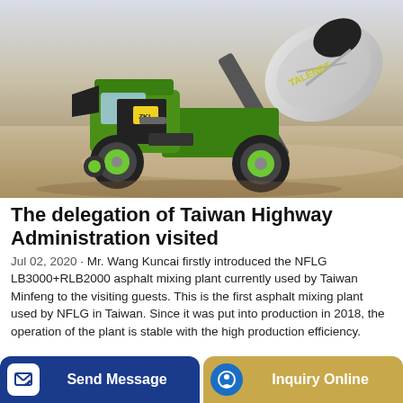[Figure (photo): Green TALENET self-loading concrete mixer truck parked on a concrete surface, side/front view, with a large rotating drum raised at an angle. Brand logo 'TALENET' visible on the drum.]
The delegation of Taiwan Highway Administration visited
Jul 02, 2020 · Mr. Wang Kuncai firstly introduced the NFLG LB3000+RLB2000 asphalt mixing plant currently used by Taiwan Minfeng to the visiting guests. This is the first asphalt mixing plant used by NFLG in Taiwan. Since it was put into production in 2018, the operation of the plant is stable with the high production efficiency.
Send Message
Inquiry Online